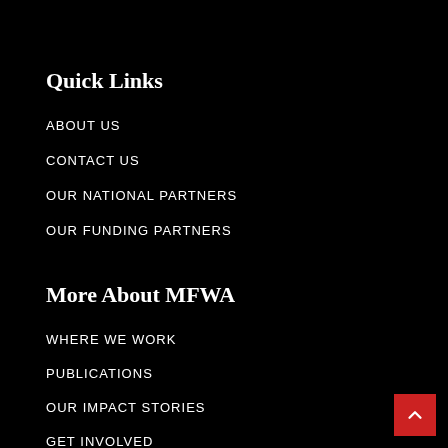Quick Links
ABOUT US
CONTACT US
OUR NATIONAL PARTNERS
OUR FUNDING PARTNERS
More About MFWA
WHERE WE WORK
PUBLICATIONS
OUR IMPACT STORIES
GET INVOLVED
WAMECA